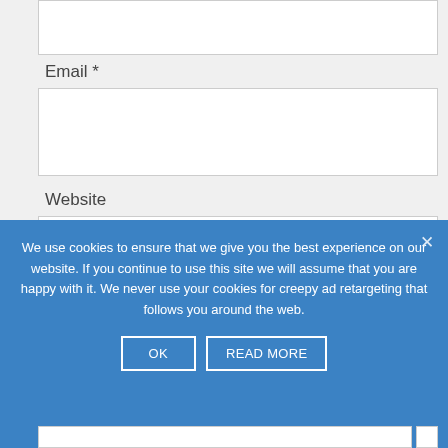[Figure (screenshot): Top partial input box (cut off at page top)]
Email *
[Figure (screenshot): Email text input box]
Website
[Figure (screenshot): Website text input box]
Verify you are not a robot
[Figure (screenshot): Cookie consent banner with text: We use cookies to ensure that we give you the best experience on our website. If you continue to use this site we will assume that you are happy with it. We never use your cookies for creepy ad retargeting that follows you around the web. Buttons: OK, READ MORE]
[Figure (screenshot): Partial bottom input area (cut off at page bottom)]